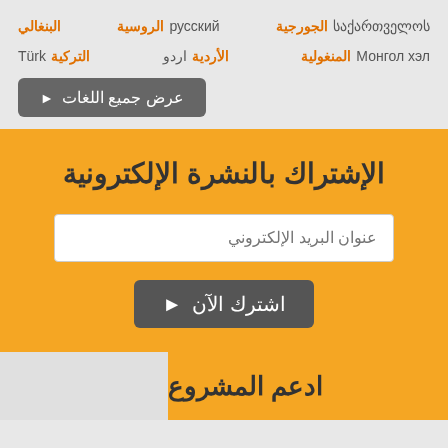البنغالي
الروسية русский
الجورجية საქართველოს
التركية Türk
الأردية اردو
المنغولية Монгол хэл
عرض جميع اللغات
الإشتراك بالنشرة الإلكترونية
عنوان البريد الإلكتروني
اشترك الآن
ادعم المشروع